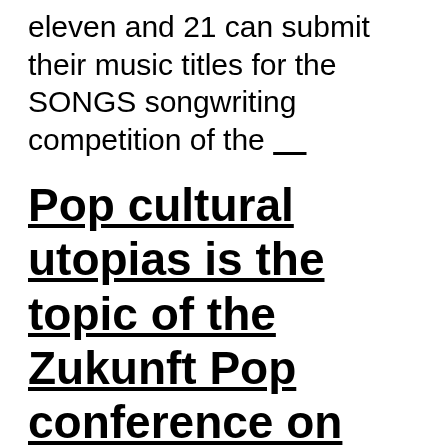eleven and 21 can submit their music titles for the SONGS songwriting competition of the ___
Pop cultural utopias is the topic of the Zukunft Pop conference on December